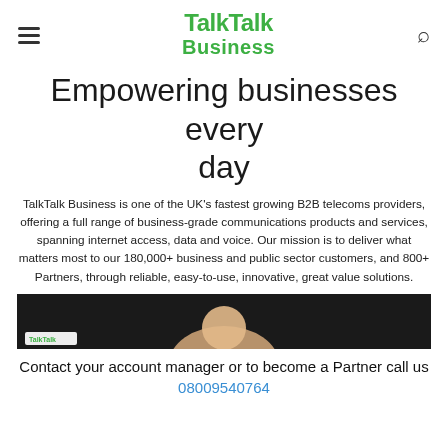TalkTalk Business
Empowering businesses every day
TalkTalk Business is one of the UK's fastest growing B2B telecoms providers, offering a full range of business-grade communications products and services, spanning internet access, data and voice. Our mission is to deliver what matters most to our 180,000+ business and public sector customers, and 800+ Partners, through reliable, easy-to-use, innovative, great value solutions.
[Figure (screenshot): Video thumbnail showing a person's face against a dark background with TalkTalk branding]
Contact your account manager or to become a Partner call us 08009540764